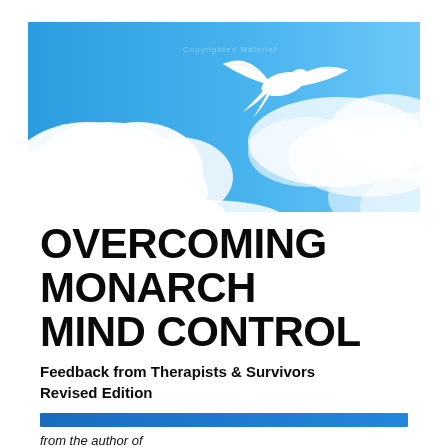[Figure (illustration): Book cover of 'Overcoming Monarch Mind Control' showing a blue sky with white clouds and a white dove flying in the upper right area. The lower portion has a white background with the book title in large bold black text, subtitle text, a blue horizontal bar, and beginning of author line at bottom.]
OVERCOMING MONARCH MIND CONTROL
Feedback from Therapists & Survivors Revised Edition